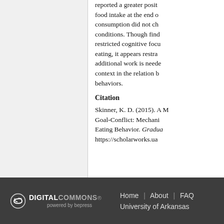reported a greater positive effect on healthy food intake at the end of consumption did not change across conditions. Though findings suggest restricted cognitive focus affects eating, it appears restraint additional work is needed to clarify context in the relation between behaviors.
Citation
Skinner, K. D. (2015). A M Goal-Conflict: Mechanisms Eating Behavior. Gradua https://scholarworks.ua
DIGITAL COMMONS powered by bepress | Home | About | FAQ | University of Arkansas